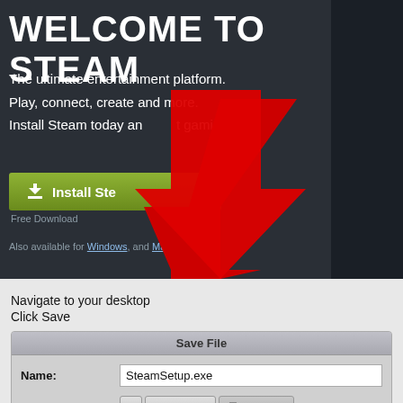[Figure (screenshot): Steam website banner with 'WELCOME TO STEAM' title, subtitle text, green Install Steam button, and a large red arrow pointing to the Install Steam button. Dark background with lighter panel on right.]
Navigate to your desktop
Click Save
[Figure (screenshot): Save File dialog box showing Name: SteamSetup.exe and Save in folder: with back button, booman home folder button, and Desktop button highlighted.]